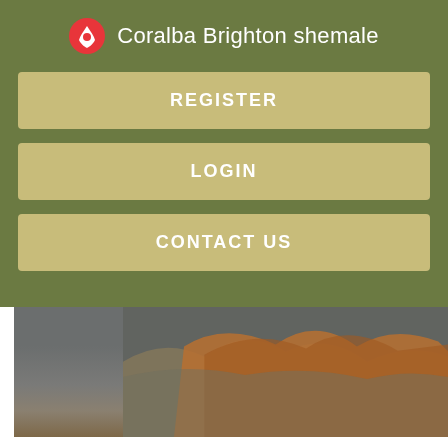Coralba Brighton shemale
REGISTER
LOGIN
CONTACT US
[Figure (photo): Partial view of a landscape or nature photo with brownish-orange tones against a grey background]
Asiaan each year comes a new trend in colours and this spring the colours to embrace are pantone. Preparing your house for re-painting while you are still living in it is not always easy but often that is just the way it is.